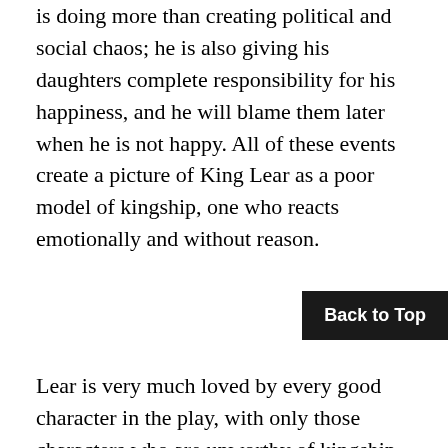is doing more than creating political and social chaos; he is also giving his daughters complete responsibility for his happiness, and he will blame them later when he is not happy. All of these events create a picture of King Lear as a poor model of kingship, one who reacts emotionally and without reason.
Lear is very much loved by every good character in the play, with only those characters who are unworthy of kingship hating him and plotting against him. Goneril, Regan, Cornwall, and Edmund offer a contrasting image of kingship in their animosity and evil, behavior that is brutal and uncaring, rather than loving and paternal. One other important element of kingship is its connection to natural law and the image of kings as anointed by God. Kingship is directly connected to natural law, which is a cen[...] this play. A king has absolute authority and has no need to question natural law, and yet kings rule as God's
Back to Top